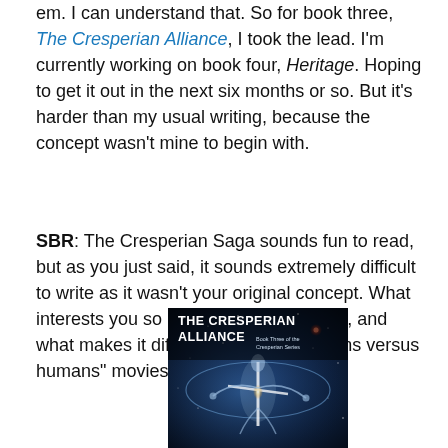em. I can understand that. So for book three, The Cresperian Alliance, I took the lead. I'm currently working on book four, Heritage. Hoping to get it out in the next six months or so. But it's harder than my usual writing, because the concept wasn't mine to begin with.
SBR: The Cresperian Saga sounds fun to read, but as you just said, it sounds extremely difficult to write as it wasn't your original concept. What interests you so much about this series, and what makes it different from other "aliens versus humans" movies and books?
[Figure (photo): Book cover of The Cresperian Alliance, Book Three of the Cresperian Series, showing an alien figure with glowing light on a dark space background with stars]